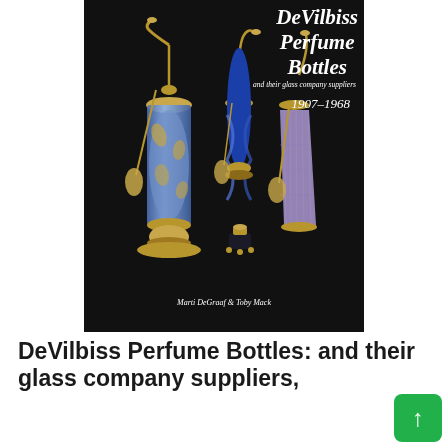[Figure (photo): Book cover of 'DeVilbiss Perfume Bottles and their glass company suppliers 1907-1968' by Marti DeGraaf & Toby Mack. Black background with three ornate glass perfume bottles with gold atomizer mechanisms — a tall blue floral etched bottle, a cobalt blue swirl bottle, and a lavender cut-crystal bottle. Small black and gold perfume bottle in foreground.]
DeVilbiss Perfume Bottles: and their glass company suppliers, 1907 to 1968